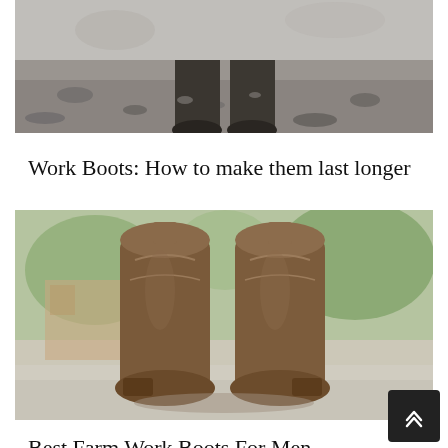[Figure (photo): Close-up black and white photo of worn work boots in mud/dirt, with dark boot toes visible pressed into muddy ground]
Work Boots: How to make them last longer
[Figure (photo): Color photo of a pair of brown leather cowboy/farm work boots standing upright, tops visible, outdoors with blurred background of trees and building]
Best Farm Work Boots For Men